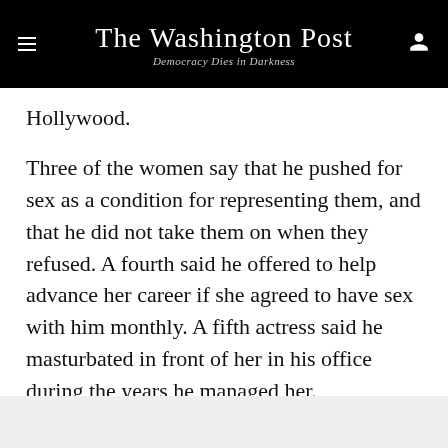The Washington Post — Democracy Dies in Darkness
Hollywood.
Three of the women say that he pushed for sex as a condition for representing them, and that he did not take them on when they refused. A fourth said he offered to help advance her career if she agreed to have sex with him monthly. A fifth actress said he masturbated in front of her in his office during the years he managed her.
Story continues below advertisement